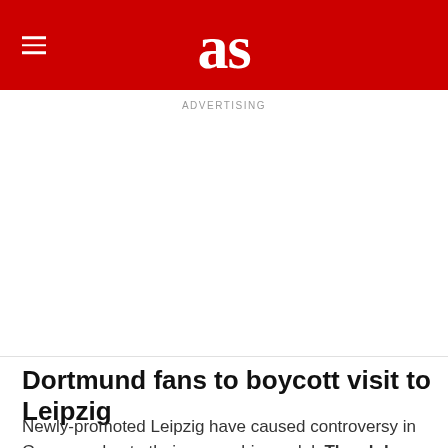as
ADVERTISING
Dortmund fans to boycott visit to Leipzig
Newly-promoted Leipzig have caused controversy in Germany due to their ownership model. The club, which